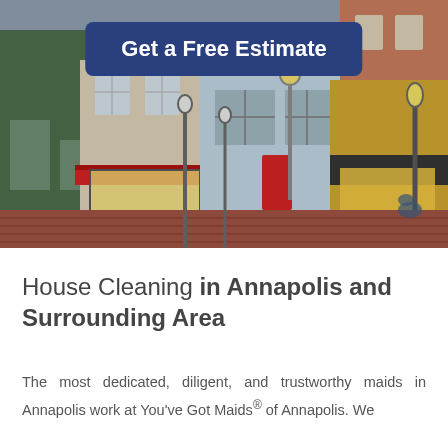[Figure (photo): Street-level view of colorful historic storefronts in Annapolis with red awnings, brick sidewalk, and street lamp]
Get a Free Estimate
House Cleaning in Annapolis and Surrounding Area
The most dedicated, diligent, and trustworthy maids in Annapolis work at You've Got Maids® of Annapolis. We